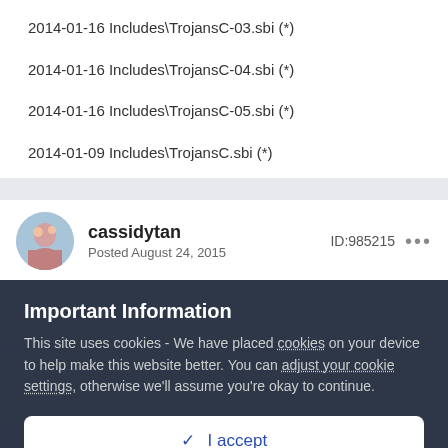2014-01-16  Includes\TrojansC-03.sbi (*)
2014-01-16  Includes\TrojansC-04.sbi (*)
2014-01-16  Includes\TrojansC-05.sbi (*)
2014-01-09  Includes\TrojansC.sbi (*)
cassidytan
Posted August 24, 2015
ID:985215
Important Information
This site uses cookies - We have placed cookies on your device to help make this website better. You can adjust your cookie settings, otherwise we'll assume you're okay to continue.
✓ I accept